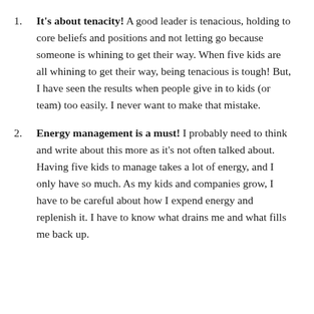It's about tenacity! A good leader is tenacious, holding to core beliefs and positions and not letting go because someone is whining to get their way. When five kids are all whining to get their way, being tenacious is tough! But, I have seen the results when people give in to kids (or team) too easily. I never want to make that mistake.
Energy management is a must! I probably need to think and write about this more as it's not often talked about. Having five kids to manage takes a lot of energy, and I only have so much. As my kids and companies grow, I have to be careful about how I expend energy and replenish it. I have to know what drains me and what fills me back up.